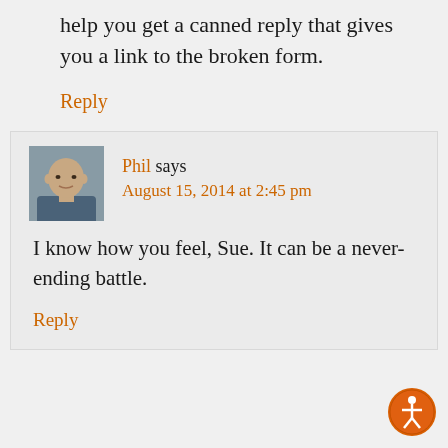help you get a canned reply that gives you a link to the broken form.
Reply
Phil says
August 15, 2014 at 2:45 pm
I know how you feel, Sue. It can be a never-ending battle.
Reply